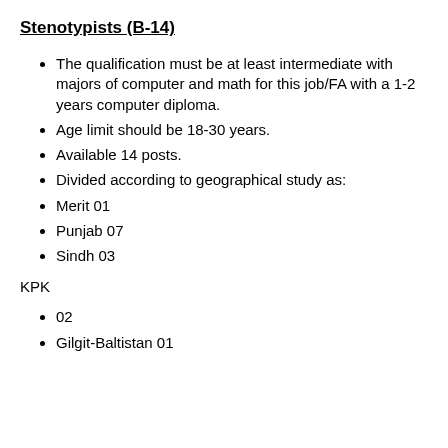Stenotypists (B-14)
The qualification must be at least intermediate with majors of computer and math for this job/FA with a 1-2 years computer diploma.
Age limit should be 18-30 years.
Available 14 posts.
Divided according to geographical study as:
Merit 01
Punjab 07
Sindh 03
KPK
02
Gilgit-Baltistan 01